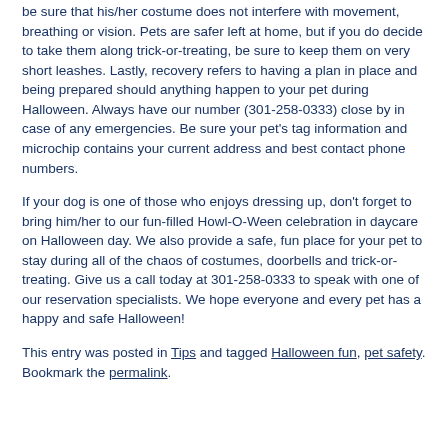be sure that his/her costume does not interfere with movement, breathing or vision. Pets are safer left at home, but if you do decide to take them along trick-or-treating, be sure to keep them on very short leashes. Lastly, recovery refers to having a plan in place and being prepared should anything happen to your pet during Halloween. Always have our number (301-258-0333) close by in case of any emergencies. Be sure your pet's tag information and microchip contains your current address and best contact phone numbers.
If your dog is one of those who enjoys dressing up, don't forget to bring him/her to our fun-filled Howl-O-Ween celebration in daycare on Halloween day. We also provide a safe, fun place for your pet to stay during all of the chaos of costumes, doorbells and trick-or-treating. Give us a call today at 301-258-0333 to speak with one of our reservation specialists. We hope everyone and every pet has a happy and safe Halloween!
This entry was posted in Tips and tagged Halloween fun, pet safety. Bookmark the permalink.